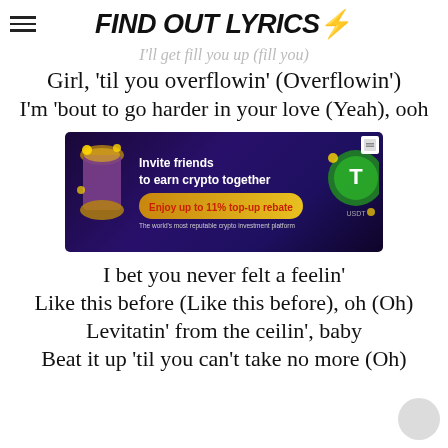FIND OUT LYRICS⚡
I'll get fill you up (fill you)
Girl, 'til you overflowin' (Overflowin')
I'm 'bout to go harder in your love (Yeah), ooh
[Figure (screenshot): Crypto advertisement banner: 'Invite friends to earn crypto together. Enjoy up to 11% top-up rebate. The world's most reputable crypto investment platform']
I bet you never felt a feelin'
Like this before (Like this before), oh (Oh)
Levitatin' from the ceilin', baby
Beat it up 'til you can't take no more (Oh)